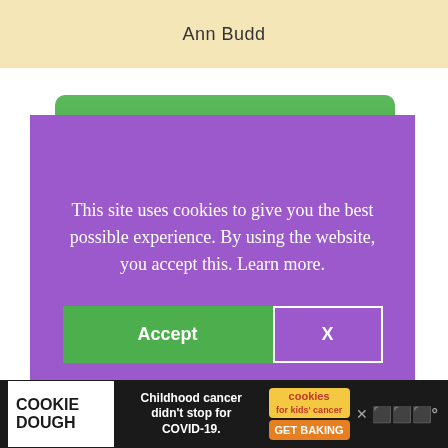Ann Budd
[Figure (screenshot): Green 'Check Price On Amazon' button with rounded corners]
[Figure (screenshot): Purple cookie consent dialog overlay with text 'This site uses cookies to give you the best possible experience. By using the website, you accept this. Learn more.' and Accept and X buttons]
D
Hats
Scarf (see my guide to the best yarn for knitting scarves)
[Figure (screenshot): Cookie Dough advertisement banner at bottom: 'Childhood cancer didn't stop for COVID-19.' with cookies for kids' cancer logo and GET BAKING button]